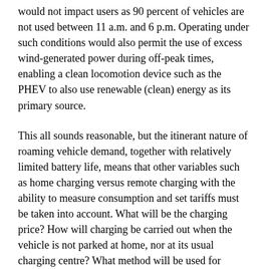would not impact users as 90 percent of vehicles are not used between 11 a.m. and 6 p.m. Operating under such conditions would also permit the use of excess wind-generated power during off-peak times, enabling a clean locomotion device such as the PHEV to also use renewable (clean) energy as its primary source.
This all sounds reasonable, but the itinerant nature of roaming vehicle demand, together with relatively limited battery life, means that other variables such as home charging versus remote charging with the ability to measure consumption and set tariffs must be taken into account. What will be the charging price? How will charging be carried out when the vehicle is not parked at home, nor at its usual charging centre? What method will be used for making payments? Who will be involved in developing all this infrastructure and how will it all